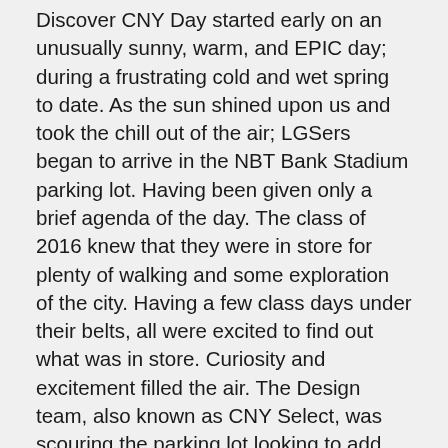Discover CNY Day started early on an unusually sunny, warm, and EPIC day; during a frustrating cold and wet spring to date. As the sun shined upon us and took the chill out of the air; LGSers began to arrive in the NBT Bank Stadium parking lot. Having been given only a brief agenda of the day. The class of 2016 knew that they were in store for plenty of walking and some exploration of the city. Having a few class days under their belts, all were excited to find out what was in store. Curiosity and excitement filled the air. The Design team, also known as CNY Select, was scouring the parking lot looking to add members to its elite team of leaders who celebrate and promote CNY's all-star industries, businesses, innovators, and entrepreneurs.
The class had 30 minutes to catch up on the past month, grab some breakfast and something to drink, then they were to get on the tour bus to begin our day. Fresh